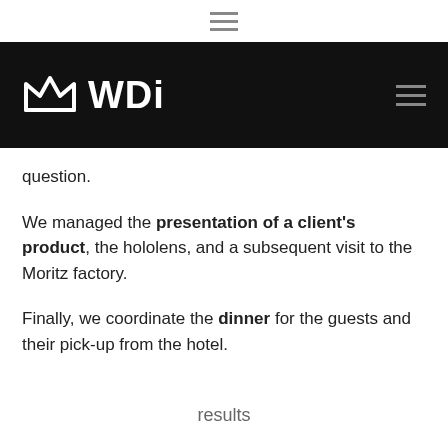≡ (hamburger menu icon)
WDi logo with hamburger menu
question.
We managed the presentation of a client's product, the hololens, and a subsequent visit to the Moritz factory.
Finally, we coordinate the dinner for the guests and their pick-up from the hotel.
results